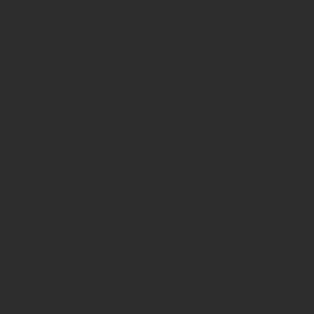[Figure (screenshot): Dark web page layout showing a 'Similar to Mortife...' section with album covers. Left panel is dark background. Right panel shows two sections: top image area in dark gray, a 'Similar to Mortife...' heading, album covers including 'Monarch - Mer Morte' and a partially visible second album, and below a 'dominique walter' album cover with track listings and a man's face, alongside another partially visible dark album cover.]
Similar to Mortife...
Monarch - Mer Morte
[Figure (photo): Album cover for dominique walter showing text 'dominique walter' in italic, tracklist including S'EN VIENT LE TEMPS, A TOUS VENTS, L'AMOUR COMME IL VA, AU FOND DE MA PRISON, and a man's face in black and white]